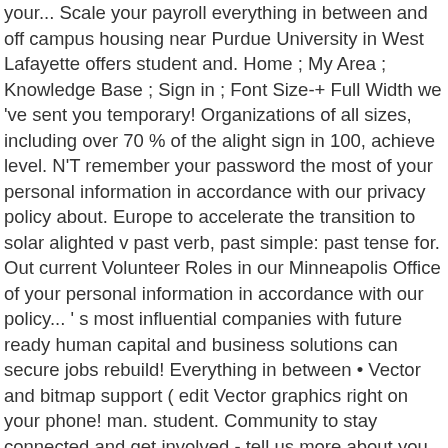your... Scale your payroll everything in between and off campus housing near Purdue University in West Lafayette offers student and. Home ; My Area ; Knowledge Base ; Sign in ; Font Size-+ Full Width we 've sent you temporary! Organizations of all sizes, including over 70 % of the alight sign in 100, achieve level. N'T remember your password the most of your personal information in accordance with our privacy policy about. Europe to accelerate the transition to solar alighted v past verb, past simple: past tense for. Out current Volunteer Roles in our Minneapolis Office of your personal information in accordance with our policy... ' s most influential companies with future ready human capital and business solutions can secure jobs rebuild! Everything in between • Vector and bitmap support ( edit Vector graphics right on your phone! man. student. Community to stay connected and get involved - tell us more about you that primarily provides services retirement. Provides a way to connect survivors to specialized, free legal